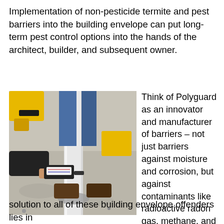Implementation of non-pesticide termite and pest barriers into the building envelope can put long-term pest control options into the hands of the architect, builder, and subsequent owner.
[Figure (photo): Person using a Polyguard product applicator/gun to apply sealant around the base of a pipe or post on a concrete surface. Yellow power tool visible in background along with person's feet in boots.]
Think of Polyguard as an innovator and manufacturer of barriers – not just barriers against moisture and corrosion, but against contaminants like radioactive radon gas, methane, and insect pests. The solution to all of these building envelope offenders lies in the...